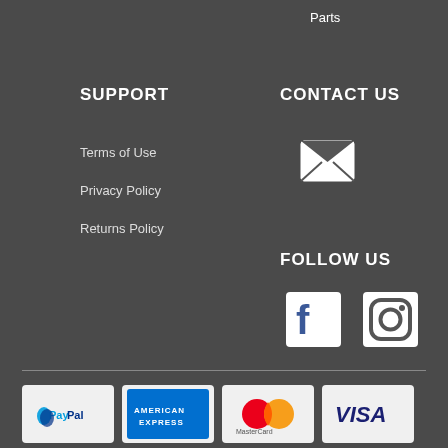Parts
SUPPORT
Terms of Use
Privacy Policy
Returns Policy
CONTACT US
[Figure (illustration): Email envelope icon]
FOLLOW US
[Figure (illustration): Facebook and Instagram social media icons]
[Figure (illustration): Payment method logos: PayPal, American Express, MasterCard, Visa]
Copyright © 2022 The Bicycle Company. E-commerce software by Neto ABN: 60 001 914 469